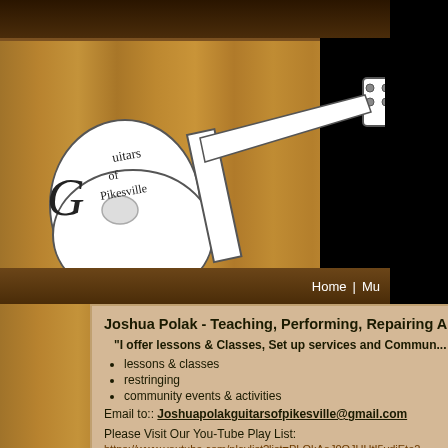[Figure (logo): Guitars of Pikesville logo with hand-drawn guitar illustration and handwritten-style text]
Home  |  Mu...
Joshua Polak - Teaching, Performing, Repairing And...
"I offer lessons & Classes, Set up services and Commun...
lessons & classes
restringing
community events & activities
Email to:: Joshuapolakguitarsofpikesville@gmail.com
Please Visit Our You-Tube Play List:
https://www.youtube.com/playlist?list=PLOkAoJ0OJUUtI5ydiEte2...
https://www.youtube.com/playlist?list=PLOkAoJ0OJUUuBTy8v90...